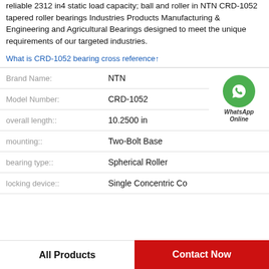reliable 2312 in4 static load capacity; ball and roller in NTN CRD-1052 tapered roller bearings Industries Products Manufacturing & Engineering and Agricultural Bearings designed to meet the unique requirements of our targeted industries.
What is CRD-1052 bearing cross reference↑
| Property | Value |
| --- | --- |
| Brand Name: | NTN |
| Model Number: | CRD-1052 |
| overall length:: | 10.2500 in |
| mounting:: | Two-Bolt Base |
| bearing type:: | Spherical Roller |
| locking device:: | Single Concentric Co |
[Figure (logo): WhatsApp Online green circle icon with phone handset, labeled WhatsApp Online]
All Products
Contact Now